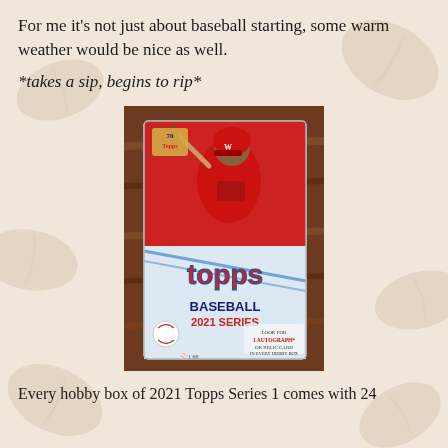For me it's not just about baseball starting, some warm weather would be nice as well.
*takes a sip, begins to rip*
[Figure (photo): A Topps Baseball 2021 Series 1 hobby box featuring a Washington Nationals player batting, with text indicating 1 autograph or relic card in every hobby box.]
Every hobby box of 2021 Topps Series 1 comes with 24